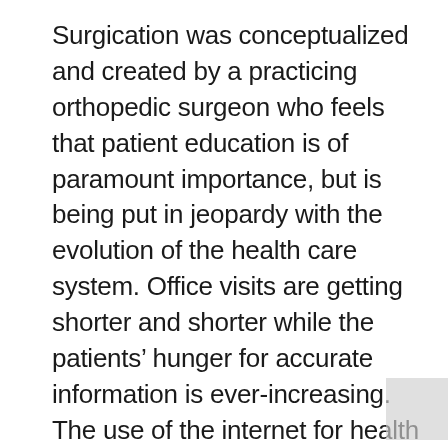Surgication was conceptualized and created by a practicing orthopedic surgeon who feels that patient education is of paramount importance, but is being put in jeopardy with the evolution of the health care system. Office visits are getting shorter and shorter while the patients' hunger for accurate information is ever-increasing. The use of the internet for health care information is on the rise, but the validity and reliability of the information is questionable….until now.
“In this day and age where a plethora of health-related information is readily